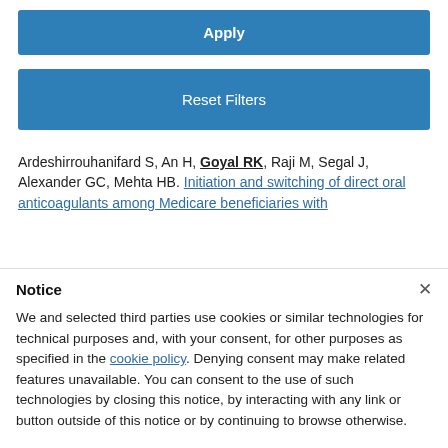Apply
Reset Filters
Ardeshirrouhanifard S, An H, Goyal RK, Raji M, Segal J, Alexander GC, Mehta HB. Initiation and switching of direct oral anticoagulants among Medicare beneficiaries with
Notice
We and selected third parties use cookies or similar technologies for technical purposes and, with your consent, for other purposes as specified in the cookie policy. Denying consent may make related features unavailable. You can consent to the use of such technologies by closing this notice, by interacting with any link or button outside of this notice or by continuing to browse otherwise.